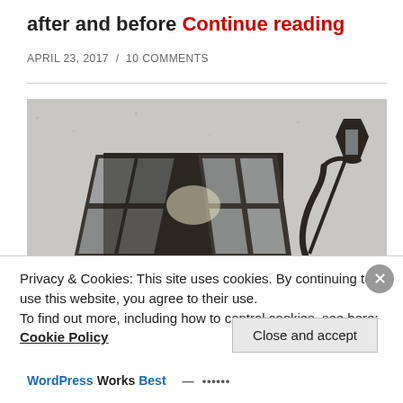after and before Continue reading
APRIL 23, 2017  /  10 COMMENTS
[Figure (photo): Exterior wall of a building showing an open window with dark wooden frames and a wrought-iron street lamp mounted on the wall to the right]
Privacy & Cookies: This site uses cookies. By continuing to use this website, you agree to their use.
To find out more, including how to control cookies, see here: Cookie Policy
Close and accept
WordPress Works Best